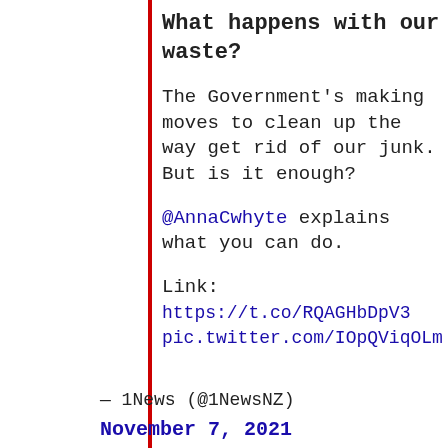What happens with our waste?
The Government's making moves to clean up the way get rid of our junk. But is it enough?
@AnnaCwhyte explains what you can do.
Link: https://t.co/RQAGHbDpV3 pic.twitter.com/IOpQViqOLm
— 1News (@1NewsNZ)
November 7, 2021